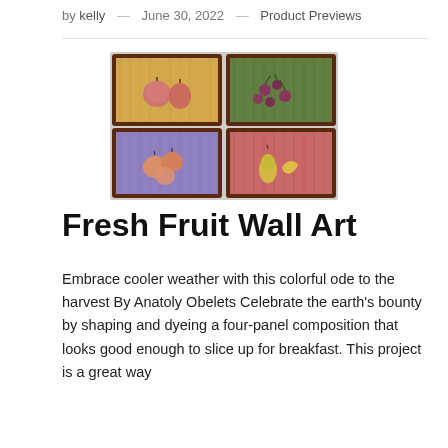by kelly — June 30, 2022 — Product Previews
[Figure (photo): Four-panel wall art featuring colorful wooden frame boxes with sculpted fruit: top-left has apple/pear on yellow wood, top-right has cherries/berries on green wood, bottom-left has peaches on purple wood, bottom-right has pear/banana on pink-red wood.]
Fresh Fruit Wall Art
Embrace cooler weather with this colorful ode to the harvest By Anatoly Obelets Celebrate the earth's bounty by shaping and dyeing a four-panel composition that looks good enough to slice up for breakfast. This project is a great way